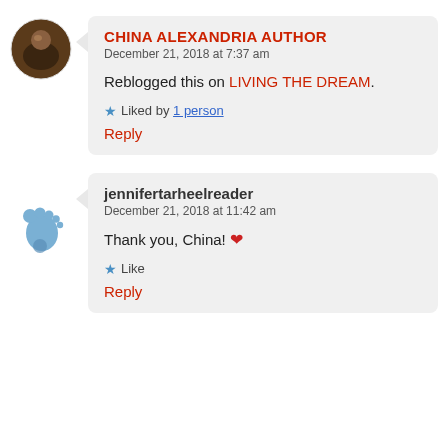CHINA ALEXANDRIA AUTHOR
December 21, 2018 at 7:37 am

Reblogged this on LIVING THE DREAM.

★ Liked by 1 person

Reply
jennifertarheelreader
December 21, 2018 at 11:42 am

Thank you, China! ❤

★ Like

Reply